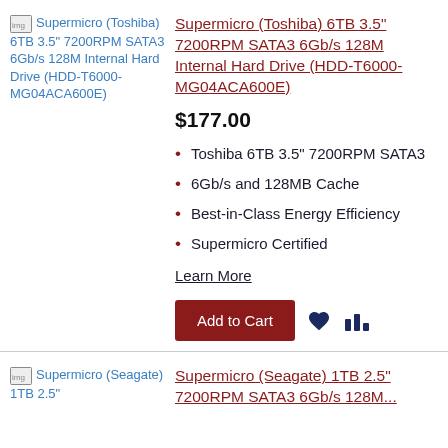[Figure (photo): Product image placeholder for Supermicro (Toshiba) 6TB 3.5" 7200RPM SATA3 6Gb/s 128M Internal Hard Drive (HDD-T6000-MG04ACA600E)]
Supermicro (Toshiba) 6TB 3.5" 7200RPM SATA3 6Gb/s 128M Internal Hard Drive (HDD-T6000-MG04ACA600E)
$177.00
Toshiba 6TB 3.5" 7200RPM SATA3
6Gb/s and 128MB Cache
Best-in-Class Energy Efficiency
Supermicro Certified
Learn More
Add to Cart
[Figure (photo): Product image placeholder for Supermicro (Seagate) 1TB 2.5" ...]
Supermicro (Seagate) 1TB 2.5"